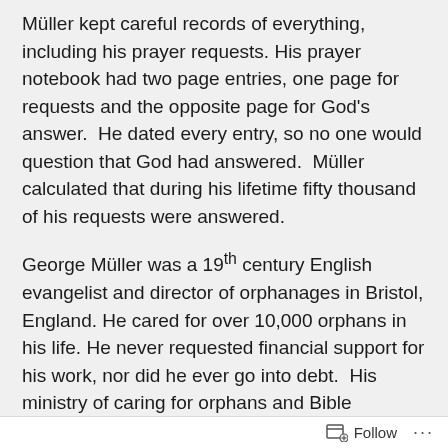Müller kept careful records of everything, including his prayer requests. His prayer notebook had two page entries, one page for requests and the opposite page for God's answer.  He dated every entry, so no one would question that God had answered.  Müller calculated that during his lifetime fifty thousand of his requests were answered.
George Müller was a 19th century English evangelist and director of orphanages in Bristol, England. He cared for over 10,000 orphans in his life. He never requested financial support for his work, nor did he ever go into debt.  His ministry of caring for orphans and Bible distribution was solely funded through prayer. Many times God provided the food for the children just as
Follow ···